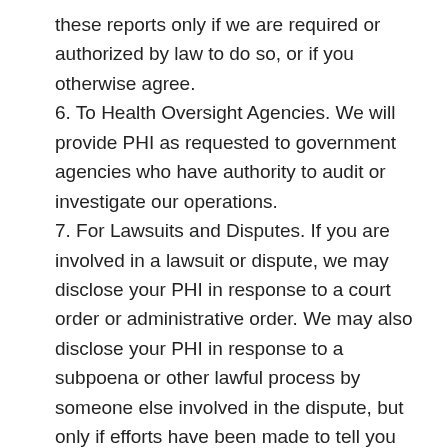these reports only if we are required or authorized by law to do so, or if you otherwise agree.
6. To Health Oversight Agencies. We will provide PHI as requested to government agencies who have authority to audit or investigate our operations.
7. For Lawsuits and Disputes. If you are involved in a lawsuit or dispute, we may disclose your PHI in response to a court order or administrative order. We may also disclose your PHI in response to a subpoena or other lawful process by someone else involved in the dispute, but only if efforts have been made to tell you about the request (which may include written notice to you) or to obtain a court order that will protect the PHI requested.
8. To Law Enforcement. We may release PHI as permitted by law if asked to do so by a law